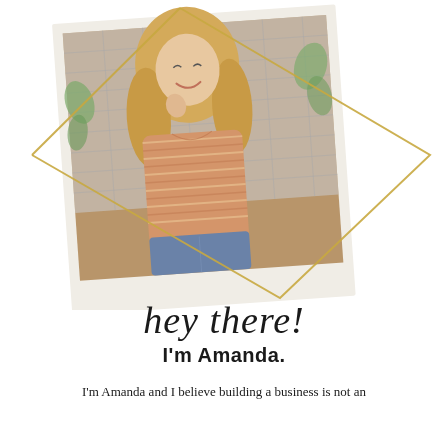[Figure (photo): Polaroid-style photo of a smiling blonde woman in an orange striped crop top and blue jeans, with a gold diamond-shaped frame overlay, on a white background]
hey there!
I'm Amanda.
I'm Amanda and I believe building a business is not an